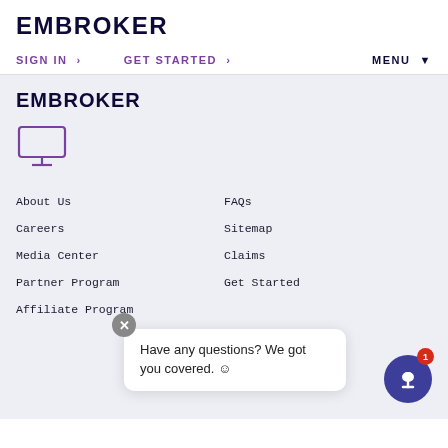EMBROKER
SIGN IN >   GET STARTED >   MENU
EMBROKER
[Figure (illustration): Monitor/desktop computer icon outlined in purple]
About Us
FAQs
Careers
Sitemap
Media Center
Claims
Partner Program
Get Started
Affiliate Program
Have any questions? We got you covered. ☺